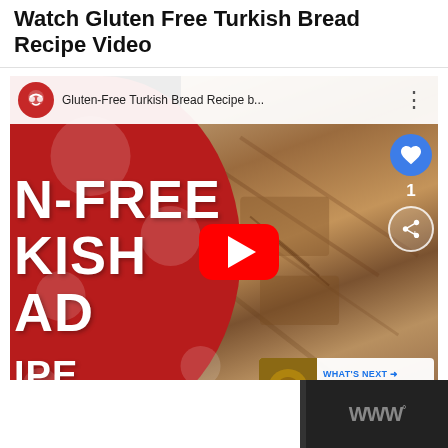Watch Gluten Free Turkish Bread Recipe Video
[Figure (screenshot): YouTube video thumbnail for 'Gluten-Free Turkish Bread Recipe b...' showing a red panel on the left with large white text 'N-FREE KISH AD' (partial: GLUTEN-FREE TURKISH BREAD RECIPE) and bread photo on the right, with YouTube play button, like button showing count 1, share button, and 'WHAT'S NEXT' overlay showing 'Gluten Free Famous...']